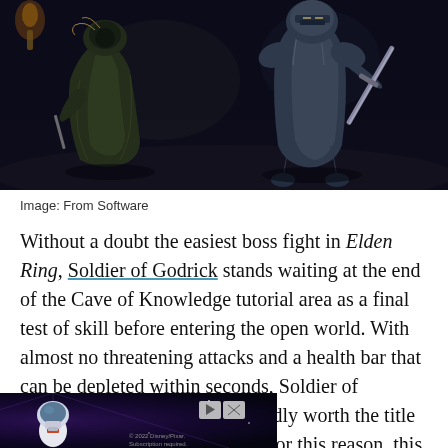[Figure (screenshot): Dark fantasy video game screenshot showing two characters in combat in a dimly lit stone environment. Left character wears a green cloak, right character is a heavily armored knight holding a sword.]
Image: From Software
Without a doubt the easiest boss fight in Elden Ring, Soldier of Godrick stands waiting at the end of the Cave of Knowledge tutorial area as a final test of skill before entering the open world. With almost no threatening attacks and a health bar that can be depleted within seconds, Soldier of Godrick is so trivial that it's hardly worth the title of boss fight in the first place. For this reason, this pathetic soldier's attempt at ending the
[Figure (screenshot): Advertisement banner for Disney Pixar Lightyear movie, showing an astronaut character in a spacesuit against a purple/blue starfield background. Includes play and close buttons.]